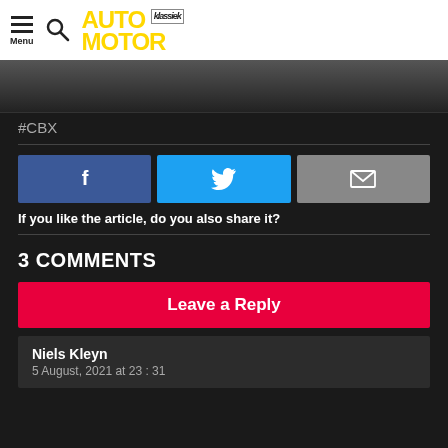AUTO MOTOR klassiek
[Figure (photo): Partial dark image strip at top of article]
#CBX
[Figure (infographic): Social share buttons: Facebook (f), Twitter (bird), Email (envelope)]
If you like the article, do you also share it?
3 COMMENTS
Leave a Reply
Niels Kleyn
5 August, 2021 at 23 : 31